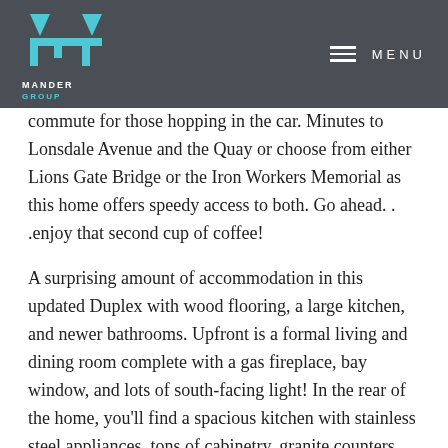MANDER GROUP | MENU
commute for those hopping in the car. Minutes to Lonsdale Avenue and the Quay or choose from either Lions Gate Bridge or the Iron Workers Memorial as this home offers speedy access to both. Go ahead...enjoy that second cup of coffee!
A surprising amount of accommodation in this updated Duplex with wood flooring, a large kitchen, and newer bathrooms. Upfront is a formal living and dining room complete with a gas fireplace, bay window, and lots of south-facing light! In the rear of the home, you'll find a spacious kitchen with stainless steel appliances, tons of cabinetry, granite counters, and an excellent family